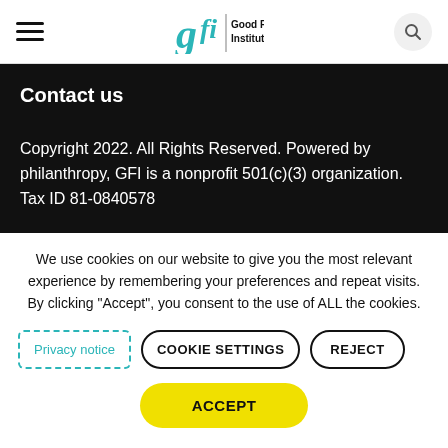Good Food Institute
Contact us
Copyright 2022. All Rights Reserved. Powered by philanthropy, GFI is a nonprofit 501(c)(3) organization. Tax ID 81-0840578
We use cookies on our website to give you the most relevant experience by remembering your preferences and repeat visits. By clicking “Accept”, you consent to the use of ALL the cookies.
Privacy notice | COOKIE SETTINGS | REJECT
ACCEPT